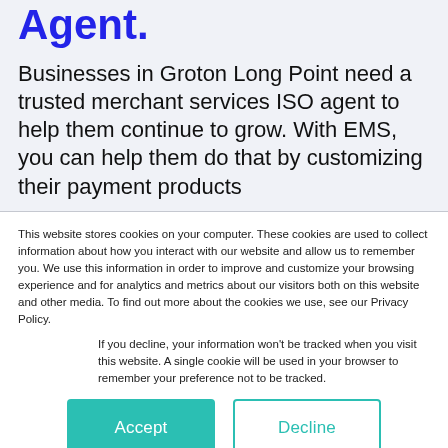Agent.
Businesses in Groton Long Point need a trusted merchant services ISO agent to help them continue to grow. With EMS, you can help them do that by customizing their payment products
This website stores cookies on your computer. These cookies are used to collect information about how you interact with our website and allow us to remember you. We use this information in order to improve and customize your browsing experience and for analytics and metrics about our visitors both on this website and other media. To find out more about the cookies we use, see our Privacy Policy.
If you decline, your information won’t be tracked when you visit this website. A single cookie will be used in your browser to remember your preference not to be tracked.